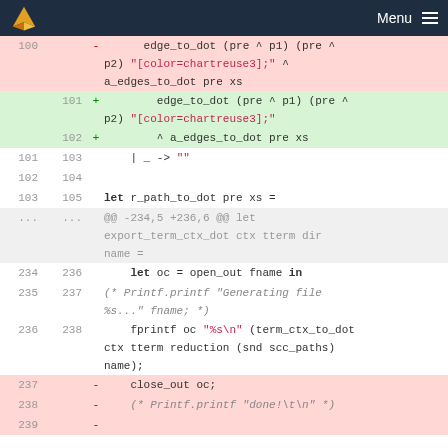Menu
[Figure (screenshot): Git diff view showing OCaml code changes. Removed lines (red background): line 100 shows 'edge_to_dot (pre ^ p1) (pre ^ p2) "[color=chartreuse3];" ^ a_edges_to_dot pre xs'. Added lines (green background): lines 101-102 show same split differently. Context lines show let r_path_to_dot and export_term_ctx_dot function, plus fprintf and close_out lines with some removed.]